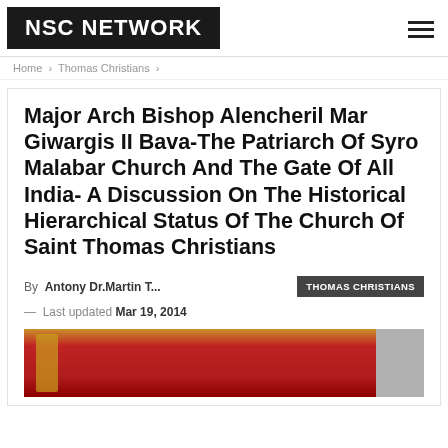NSC NETWORK
Home › Thomas Christians ›
Major Arch Bishop Alencheril Mar Giwargis II Bava-The Patriarch Of Syro Malabar Church And The Gate Of All India- A Discussion On The Historical Hierarchical Status Of The Church Of Saint Thomas Christians
By Antony Dr.Martin T...
THOMAS CHRISTIANS
— Last updated Mar 19, 2014
[Figure (photo): Bottom portion of a photo showing a religious figure in red and gold vestments]